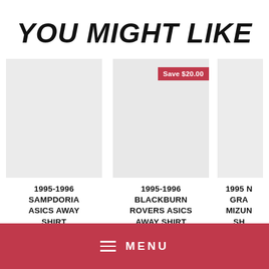YOU MIGHT LIKE
[Figure (photo): Product image area for 1995-1996 Sampdoria Asics Away Shirt]
[Figure (photo): Product image area for 1995-1996 Blackburn Rovers Asics Away Shirt with Save $20.00 badge]
[Figure (photo): Partial product image area for third item (cropped at right edge)]
1995-1996 SAMPDORIA ASICS AWAY SHIRT
$200.00
1995-1996 BLACKBURN ROVERS ASICS AWAY SHIRT
$150.00 $130.00
1995 N GRA MIZUN SH
$1
MENU